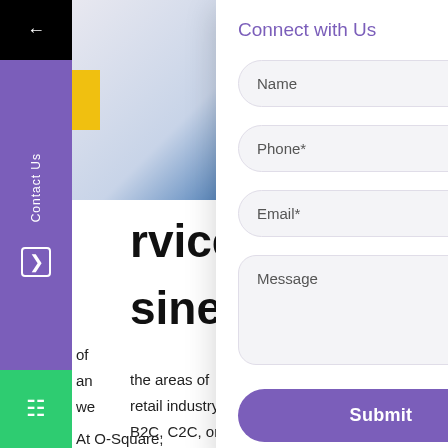[Figure (screenshot): Website screenshot with a modal contact form overlay titled 'Connect with Us'. The form contains fields for Name, Phone*, Email*, and Message, plus a purple Submit button. Behind the modal is a webpage with a purple sidebar (showing Contact Us label and WhatsApp icon), a banner image, bold headings reading 'rvices' and 'siness', and body text about retail industry services.]
Connect with Us
Name
Phone*
Email*
Message
Submit
rvices
siness
the areas of retail industry B2C, C2C, or At O-Square, performance- oriented solution to everyone.